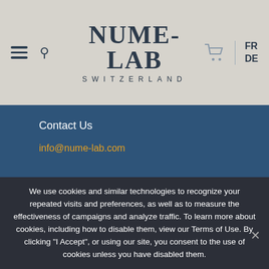NUME-LAB SWITZERLAND
Contact Us
info@nume-lab.com
NUME-Lab Sàrl
Grand-Rue 92
1820 Montreux
Switzerland
We use cookies and similar technologies to recognize your repeated visits and preferences, as well as to measure the effectiveness of campaigns and analyze traffic. To learn more about cookies, including how to disable them, view our Terms of Use. By clicking "I Accept", or using our site, you consent to the use of cookies unless you have disabled them.